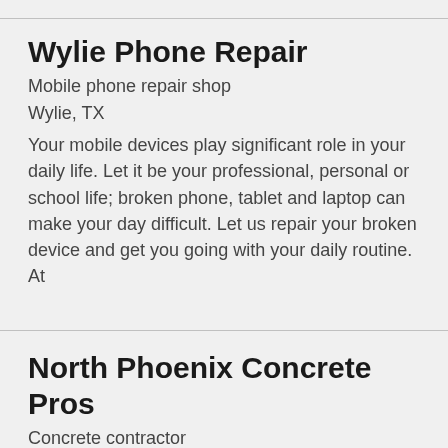Wylie Phone Repair
Mobile phone repair shop
Wylie, TX
Your mobile devices play significant role in your daily life. Let it be your professional, personal or school life; broken phone, tablet and laptop can make your day difficult. Let us repair your broken device and get you going with your daily routine. At
North Phoenix Concrete Pros
Concrete contractor